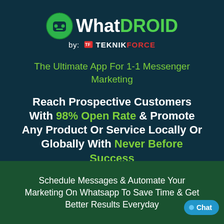[Figure (logo): WhatDROID by TeknikForce logo — green circular face icon with 'WhatDROID' text in white and green, 'by: TeknikForce' beneath in white and red]
The Ultimate App For 1-1 Messenger Marketing
Reach Prospective Customers With 98% Open Rate & Promote Any Product Or Service Locally Or Globally With Never Before Success
Schedule Messages & Automate Your Marketing On Whatsapp To Save Time & Get Better Results Everyday